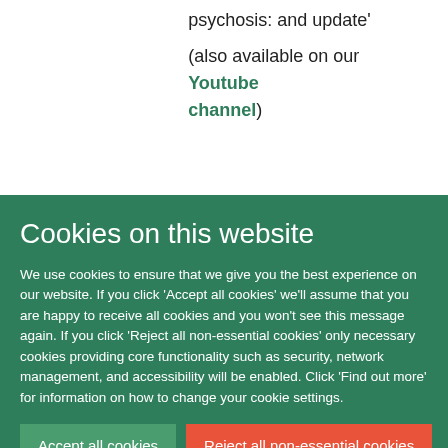psychosis: and update'
(also available on our Youtube channel)
Cookies on this website
We use cookies to ensure that we give you the best experience on our website. If you click 'Accept all cookies' we'll assume that you are happy to receive all cookies and you won't see this message again. If you click 'Reject all non-essential cookies' only necessary cookies providing core functionality such as security, network management, and accessibility will be enabled. Click 'Find out more' for information on how to change your cookie settings.
Accept all cookies
Reject all non-essential cookies
Find out more